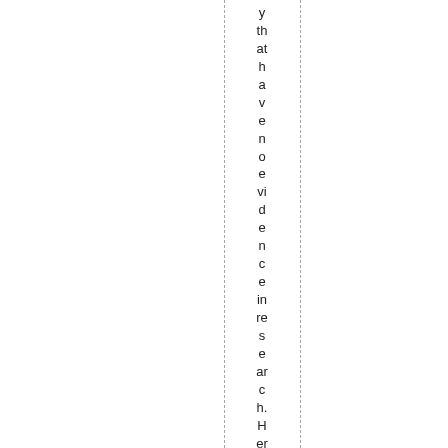y that have no evidence in research. Herel mea